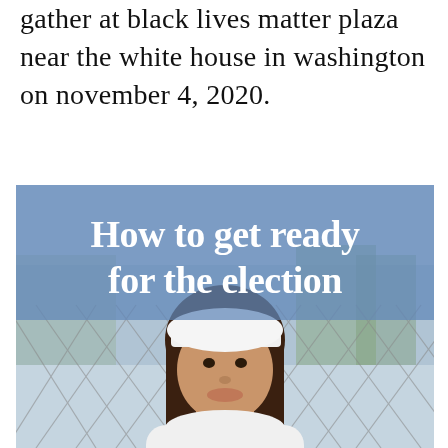gather at black lives matter plaza near the white house in washington on november 4, 2020.
[Figure (photo): A young woman wearing a white baseball cap and white sweatshirt stands in front of a chain-link fence. Overlaid on the upper portion of the image is a blue-tinted banner with bold white text reading 'How to get ready for the election'.]